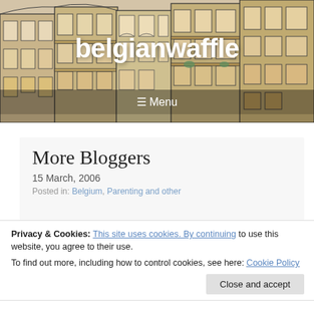[Figure (illustration): Illustrated header showing European-style building facades in ink and watercolor wash (tan/ochre tones), used as blog header background]
belgianwaffle
☰ Menu
More Bloggers
15 March, 2006
Posted in: Belgium, Parenting and other
Privacy & Cookies: This site uses cookies. By continuing to use this website, you agree to their use. To find out more, including how to control cookies, see here: Cookie Policy
On my last day of blogging for the Bulletin, I thought I would mention some other bloggers. Yes, I know, it's all me, me, me, but